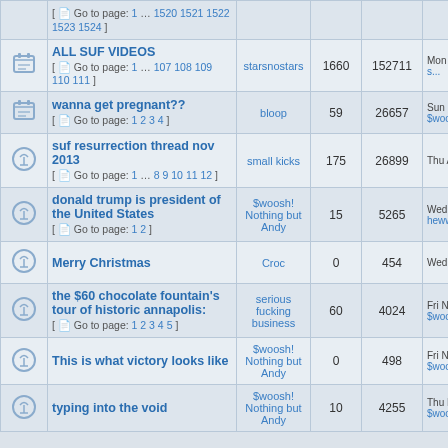|  | Topic | Last Post | Replies | Views | Date |
| --- | --- | --- | --- | --- | --- |
|  | [ Go to page: 1 … 1520 1521 1522 1523 1524 ] |  |  |  |  |
|  | ALL SUF VIDEOS [ Go to page: 1 … 107 108 109 110 111 ] | starsnostars | 1660 | 152711 | Mon O... |
|  | wanna get pregnant?? [ Go to page: 1 2 3 4 ] | bloop | 59 | 26657 | Sun M... $woos... |
|  | suf resurrection thread nov 2013 [ Go to page: 1 … 8 9 10 11 12 ] | small kicks | 175 | 26899 | Thu Au... |
|  | donald trump is president of the United States [ Go to page: 1 2 ] | $woosh! Nothing but Andy | 15 | 5265 | Wed Ju... heww... |
|  | Merry Christmas | Croc | 0 | 454 | Wed De... |
|  | the $60 chocolate fountain's tour of historic annapolis: [ Go to page: 1 2 3 4 5 ] | serious fucking business | 60 | 4024 | Fri No... $woos... |
|  | This is what victory looks like | $woosh! Nothing but Andy | 0 | 498 | Fri No... $woos... |
|  | typing into the void | $woosh! Nothing but Andy | 10 | 4255 | Thu No... $woos... |